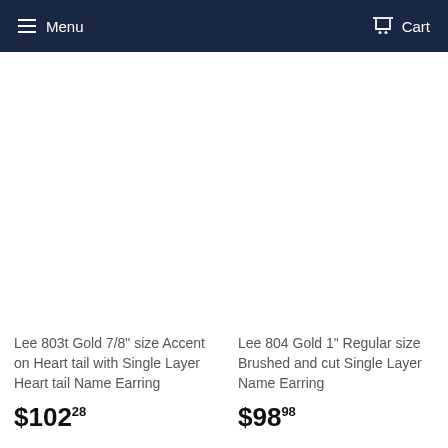Menu   Cart
Lee 803t Gold 7/8" size Accent on Heart tail with Single Layer Heart tail Name Earring
$102.28
Lee 804 Gold 1" Regular size Brushed and cut Single Layer Name Earring
$98.98